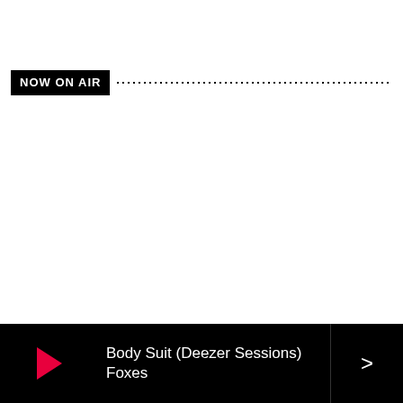NOW ON AIR
Body Suit (Deezer Sessions)
Foxes